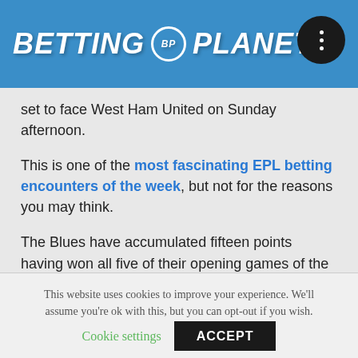BETTING BP PLANET
set to face West Ham United on Sunday afternoon.
This is one of the most fascinating EPL betting encounters of the week, but not for the reasons you may think.
The Blues have accumulated fifteen points having won all five of their opening games of the season, and thus lead the standings: albeit above second placed Liverpool who have similar points but with an inferior goal difference.
This website uses cookies to improve your experience. We'll assume you're ok with this, but you can opt-out if you wish.
Cookie settings   ACCEPT